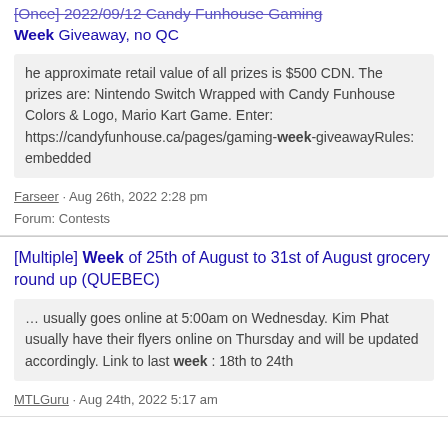[Once] 2022/09/12 Candy Funhouse Gaming Week Giveaway, no QC
he approximate retail value of all prizes is $500 CDN. The prizes are: Nintendo Switch Wrapped with Candy Funhouse Colors & Logo, Mario Kart Game. Enter: https://candyfunhouse.ca/pages/gaming-week-giveawayRules: embedded
Farseer · Aug 26th, 2022 2:28 pm
Forum: Contests
[Multiple] Week of 25th of August to 31st of August grocery round up (QUEBEC)
… usually goes online at 5:00am on Wednesday. Kim Phat usually have their flyers online on Thursday and will be updated accordingly. Link to last week : 18th to 24th
MTLGuru · Aug 24th, 2022 5:17 am